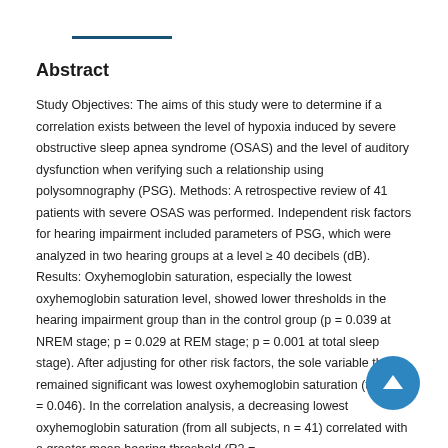Abstract
Study Objectives: The aims of this study were to determine if a correlation exists between the level of hypoxia induced by severe obstructive sleep apnea syndrome (OSAS) and the level of auditory dysfunction when verifying such a relationship using polysomnography (PSG). Methods: A retrospective review of 41 patients with severe OSAS was performed. Independent risk factors for hearing impairment included parameters of PSG, which were analyzed in two hearing groups at a level ≥ 40 decibels (dB). Results: Oxyhemoglobin saturation, especially the lowest oxyhemoglobin saturation level, showed lower thresholds in the hearing impairment group than in the control group (p = 0.039 at NREM stage; p = 0.029 at REM stage; p = 0.001 at total sleep stage). After adjusting for other risk factors, the sole variable that remained significant was lowest oxyhemoglobin saturation (total; p = 0.046). In the correlation analysis, a decreasing lowest oxyhemoglobin saturation (from all subjects, n = 41) correlated with a greater mean hearing threshold (R2 =